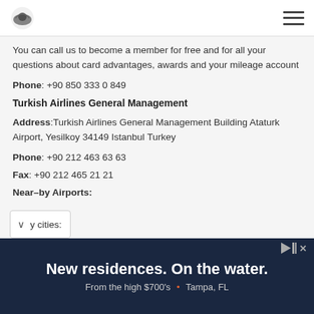Turkish Airlines logo and navigation menu
You can call us to become a member for free and for all your questions about card advantages, awards and your mileage account
Phone: +90 850 333 0 849
Turkish Airlines General Management
Address:Turkish Airlines General Management Building Ataturk Airport, Yesilkoy 34149 Istanbul Turkey
Phone: +90 212 463 63 63
Fax: +90 212 465 21 21
Near-by Airports:
y cities:
[Figure (other): Advertisement banner: New residences. On the water. From the high $700's • Tampa, FL]